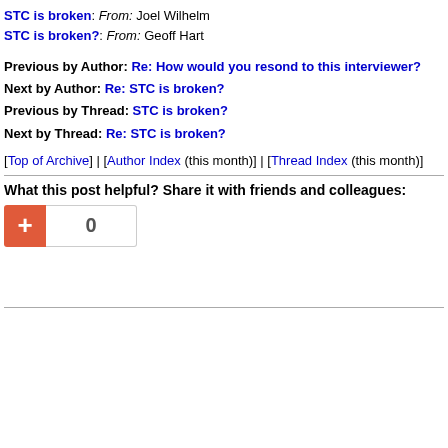STC is broken: From: Joel Wilhelm
STC is broken?: From: Geoff Hart
Previous by Author: Re: How would you resond to this interviewer?
Next by Author: Re: STC is broken?
Previous by Thread: STC is broken?
Next by Thread: Re: STC is broken?
[Top of Archive] | [Author Index (this month)] | [Thread Index (this month)]
What this post helpful? Share it with friends and colleagues:
[Figure (other): Google +1 button widget showing a red plus button and a count box displaying 0]